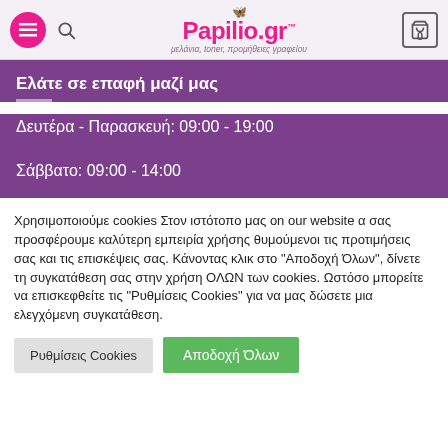Papilio.gr - μελάνια, toner, προμήθειες γραφείου
Ελάτε σε επαφή μαζί μας
Δευτέρα - Παρασκευή: 09:00 - 19:00
Σάββατο: 09:00 - 14:00
Χρησιμοποιούμε cookies Στον ιστότοπο μας on our website α σας προσφέρουμε καλύτερη εμπειρία χρήσης θυμούμενοι τις προτιμήσεις σας και τις επισκέψεις σας. Κάνοντας κλικ στο "Αποδοχή Όλων", δίνετε τη συγκατάθεση σας στην χρήση ΟΛΩΝ των cookies. Ωστόσο μπορείτε να επισκεφθείτε τις "Ρυθμίσεις Cookies" για να μας δώσετε μια ελεγχόμενη συγκατάθεση.
Ρυθμίσεις Cookies
Αποδοχή Όλων